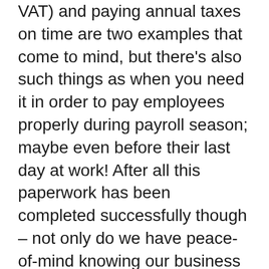VAT) and paying annual taxes on time are two examples that come to mind, but there's also such things as when you need it in order to pay employees properly during payroll season; maybe even before their last day at work! After all this paperwork has been completed successfully though – not only do we have peace-of-mind knowing our business will continue operating smoothly without any issues whatsoever thanks again Contract Law specialists !
According to the law, a company must file an annual tax return with HM Revenue and Customs (HMRC) within four months of its due date.
Failing this means fines or worse! In order for